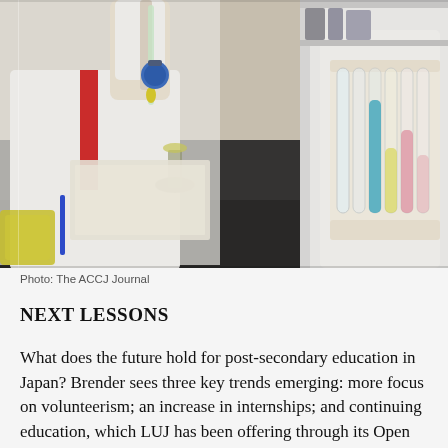[Figure (photo): Two students in white lab coats conducting a chemistry experiment. On the left, a student holds a glass rod with a yellow liquid over a flask. On the right, a student handles a rack of colorful test tubes with liquids in blue, yellow, and pink. The setting is a science laboratory with various equipment visible.]
Photo: The ACCJ Journal
NEXT LESSONS
What does the future hold for post-secondary education in Japan? Brender sees three key trends emerging: more focus on volunteerism; an increase in internships; and continuing education, which LUJ has been offering through its Open College in the evening and on Saturdays since 2008.